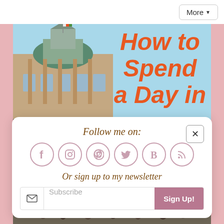More ▼
[Figure (photo): Photo of a historic building with a flag, light blue sky background, with text overlay 'How to Spend a Day in' in bold orange italic letters]
Follow me on:
[Figure (infographic): Six circular social media icons: Facebook (f), Instagram, Pinterest, Twitter (bird), Bloglovin (B), RSS feed]
Or sign up to my newsletter
Subscribe   Sign Up!
[Figure (photo): Bottom photo showing a city square with crowds of people and arched architecture]